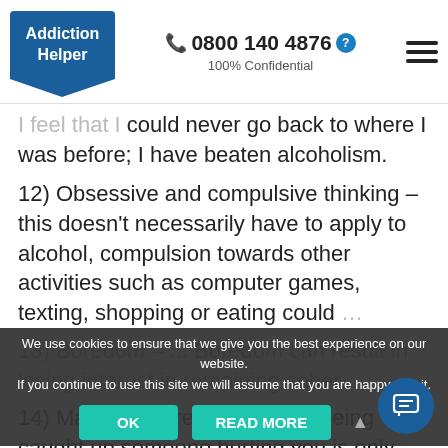Addiction Helper | 0800 140 4876 | 100% Confidential
could never go back to where I was before; I have beaten alcoholism.
12) Obsessive and compulsive thinking – this doesn't necessarily have to apply to alcohol, compulsion towards other activities such as computer games, texting, shopping or eating could
We use cookies to ensure that we give you the best experience on our website. If you continue to use this site we will assume that you are happy with it.
13) Boredom – Boredom can result in losing interest in remaining sober.
14) Maintaining resentments – being caught up someone hurting you is only going to result in